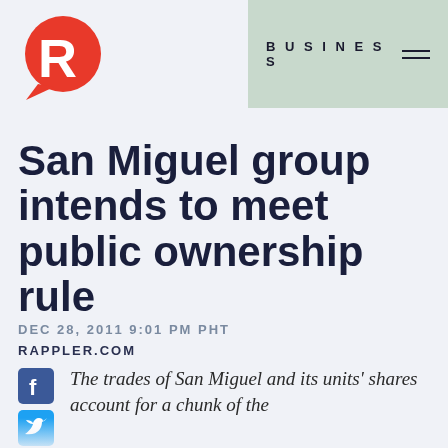[Figure (logo): Rappler logo — red circular R icon]
BUSINESS
San Miguel group intends to meet public ownership rule
DEC 28, 2011 9:01 PM PHT
RAPPLER.COM
The trades of San Miguel and its units' shares account for a chunk of the